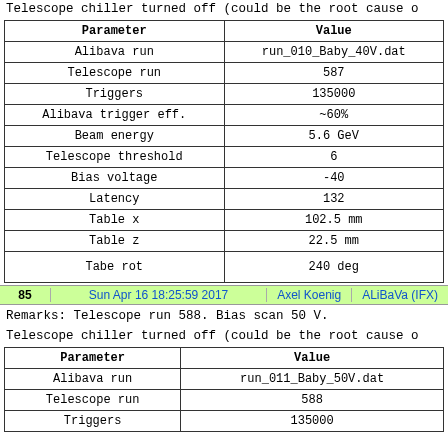Telescope chiller turned off (could be the root cause o
| Parameter | Value |
| --- | --- |
| Alibava run | run_010_Baby_40V.dat |
| Telescope run | 587 |
| Triggers | 135000 |
| Alibava trigger eff. | ~60% |
| Beam energy | 5.6 GeV |
| Telescope threshold | 6 |
| Bias voltage | -40 |
| Latency | 132 |
| Table x | 102.5 mm |
| Table z | 22.5 mm |
| Tabe rot | 240 deg |
85    Sun Apr 16 18:25:59 2017    Axel Koenig    ALiBaVa (IFX)
Remarks: Telescope run 588. Bias scan 50 V.
Telescope chiller turned off (could be the root cause o
| Parameter | Value |
| --- | --- |
| Alibava run | run_011_Baby_50V.dat |
| Telescope run | 588 |
| Triggers | 135000 |